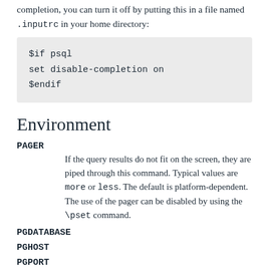completion, you can turn it off by putting this in a file named .inputrc in your home directory:
$if psql
set disable-completion on
$endif
Environment
PAGER
If the query results do not fit on the screen, they are piped through this command. Typical values are more or less. The default is platform-dependent. The use of the pager can be disabled by using the \pset command.
PGDATABASE
PGHOST
PGPORT